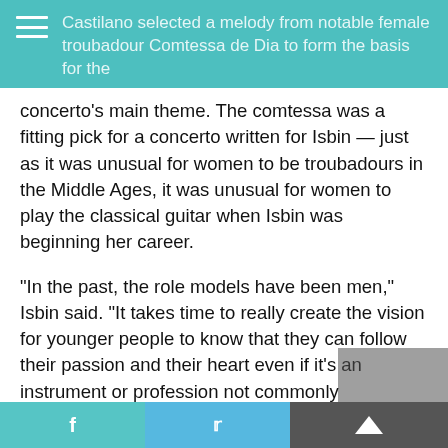Castilano selected a melody from notable female troubadour Comtessa de Dia to form the basis for the concerto's main theme.
concerto's main theme. The comtessa was a fitting pick for a concerto written for Isbin — just as it was unusual for women to be troubadours in the Middle Ages, it was unusual for women to play the classical guitar when Isbin was beginning her career.
“In the past, the role models have been men,” Isbin said. “It takes time to really create the vision for younger people to know that they can follow their passion and their heart even if it’s an instrument or profession not commonly associated with their gender.”
Isbin has certainly done that — she’s won two Grammy Awards (the only female classical guitarist to ever do so), performed around the world as a soloist both in of orchestras, and she founded the
f   t   of orchestras, and she founded the